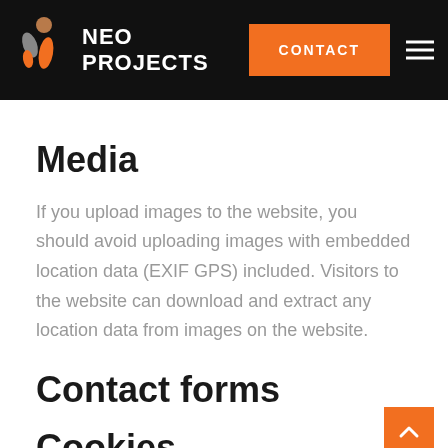[Figure (logo): NEO PROJECTS logo with abstract figure in orange, grey, and brown on black background header bar, with an orange CONTACT button and hamburger menu icon]
Media
If you upload images to the website, you should avoid uploading images with embedded location data (EXIF GPS) included. Visitors to the website can download and extract any location data from images on the website.
Contact forms
Cookies